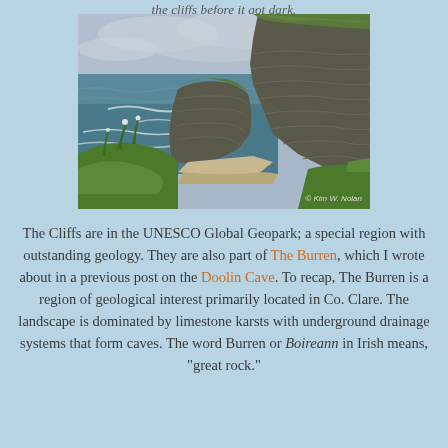the cliffs before it got dark.
[Figure (photo): Photograph of the Cliffs of Moher showing dramatic layered limestone cliffs dropping into the Atlantic Ocean, with green grass in the foreground and cloudy sky above. Watermark reads © Kim W. Nolan.]
The Cliffs are in the UNESCO Global Geopark; a special region with outstanding geology. They are also part of The Burren, which I wrote about in a previous post on the Doolin Cave. To recap, The Burren is a region of geological interest primarily located in Co. Clare. The landscape is dominated by limestone karsts with underground drainage systems that form caves. The word Burren or Boireann in Irish means, "great rock."